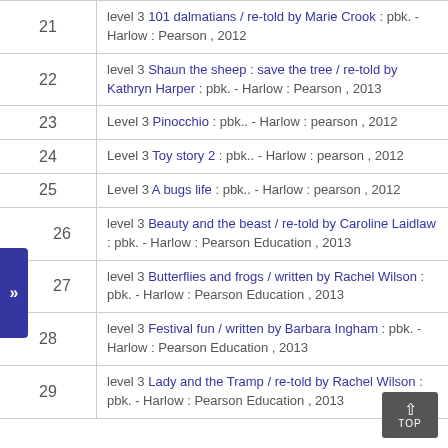| # | Description |
| --- | --- |
| 21 | level 3 101 dalmatians / re-told by Marie Crook : pbk. - Harlow : Pearson , 2012 |
| 22 | level 3 Shaun the sheep : save the tree / re-told by Kathryn Harper : pbk. - Harlow : Pearson , 2013 |
| 23 | Level 3 Pinocchio : pbk.. - Harlow : pearson , 2012 |
| 24 | Level 3 Toy story 2 : pbk.. - Harlow : pearson , 2012 |
| 25 | Level 3 A bugs life : pbk.. - Harlow : pearson , 2012 |
| 26 | level 3 Beauty and the beast / re-told by Caroline Laidlaw : pbk. - Harlow : Pearson Education , 2013 |
| 27 | level 3 Butterflies and frogs / written by Rachel Wilson : pbk. - Harlow : Pearson Education , 2013 |
| 28 | level 3 Festival fun / written by Barbara Ingham : pbk. - Harlow : Pearson Education , 2013 |
| 29 | level 3 Lady and the Tramp / re-told by Rachel Wilson : pbk. - Harlow : Pearson Education , 2013 |